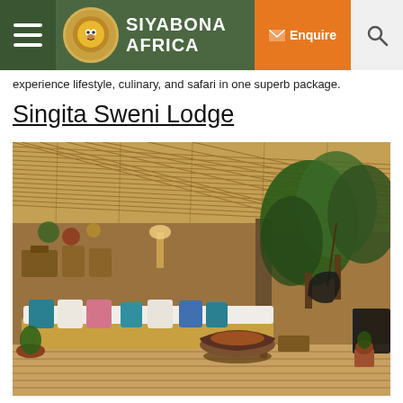Siyabona Africa — Enquire
experience lifestyle, culinary, and safari in one superb package.
Singita Sweni Lodge
[Figure (photo): Outdoor lounge area of Singita Sweni Lodge showing a wooden deck with white sofas and colourful cushions, a round fire pit bowl in the centre, hanging egg chairs, lush trees and a thatched/reeded overhead canopy, with an open interior dining/bar area visible in the background.]